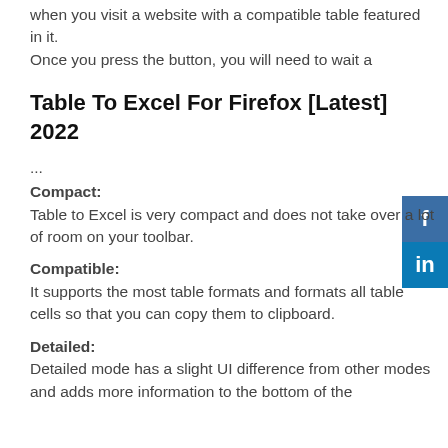when you visit a website with a compatible table featured in it.
Once you press the button, you will need to wait a
Table To Excel For Firefox [Latest] 2022
...
Compact:
Table to Excel is very compact and does not take over a lot of room on your toolbar.
Compatible:
It supports the most table formats and formats all table cells so that you can copy them to clipboard.
Detailed:
Detailed mode has a slight UI difference from other modes and adds more information to the bottom of the